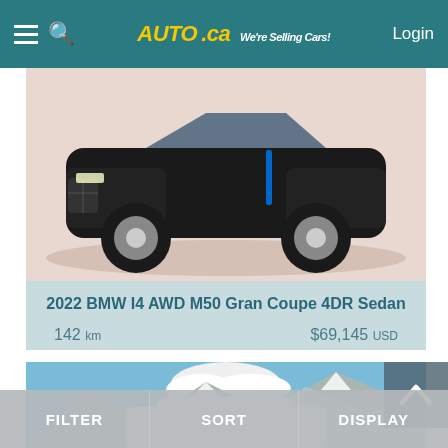AUTA.ca We're Selling Cars! Login
[Figure (photo): Photo of 2022 BMW I4 AWD M50 Gran Coupe front/side view, parked on a pinkish-beige studio floor]
2022 BMW I4 AWD M50 Gran Coupe 4DR Sedan
142 km   $69,145 USD
[Figure (photo): Photo of a white car (partial view) against a mountain backdrop with blue sky and clouds]
FILTER   SORT   DISPLAY